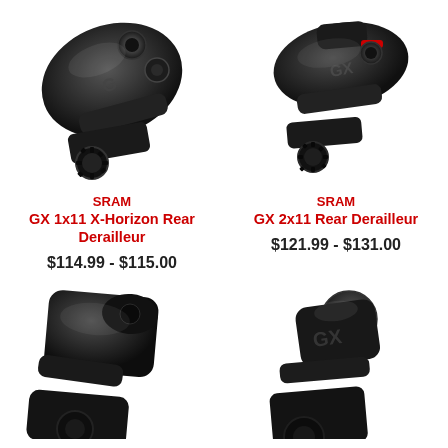[Figure (photo): SRAM GX 1x11 X-Horizon Rear Derailleur - black bicycle rear derailleur component, angled view]
[Figure (photo): SRAM GX 2x11 Rear Derailleur - black bicycle rear derailleur component, top-down angled view]
SRAM
GX 1x11 X-Horizon Rear Derailleur
$114.99 - $115.00
SRAM
GX 2x11 Rear Derailleur
$121.99 - $131.00
[Figure (photo): Partial view of a black bicycle rear derailleur component, bottom-left cropped]
[Figure (photo): Partial view of a black bicycle rear derailleur component with GX branding, bottom-right cropped]